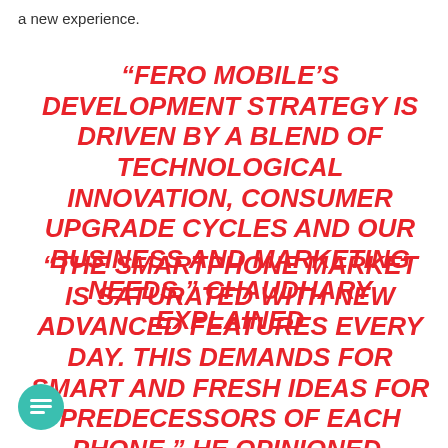a new experience.
“FERO MOBILE’S DEVELOPMENT STRATEGY IS DRIVEN BY A BLEND OF TECHNOLOGICAL INNOVATION, CONSUMER UPGRADE CYCLES AND OUR BUSINESS AND MARKETING NEEDS,” CHAUDHARY EXPLAINED
“THE SMARTPHONE MARKET IS SATURATED WITH NEW ADVANCED FEATURES EVERY DAY. THIS DEMANDS FOR SMART AND FRESH IDEAS FOR PREDECESSORS OF EACH PHONE,” HE OPINIONED.
[Figure (illustration): Teal/green circular chat bubble icon with a lines symbol inside, positioned at bottom left]